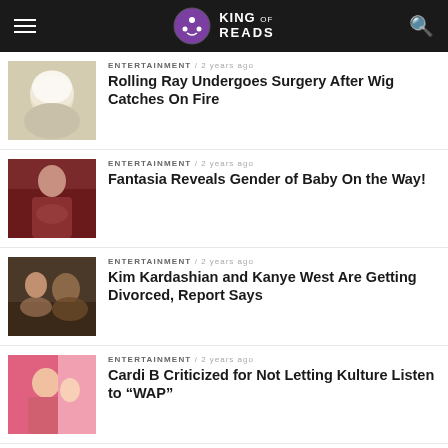KING OF READS
[Figure (photo): Person with head and face bandaged in white wraps]
ENTERTAINMENT / 2 years ago
Rolling Ray Undergoes Surgery After Wig Catches On Fire
[Figure (photo): Woman in red/burgundy off-shoulder dress, holding her belly]
ENTERTAINMENT / 2 years ago
Fantasia Reveals Gender of Baby On the Way!
[Figure (photo): Kim Kardashian and Kanye West at an event]
ENTERTAINMENT / 2 years ago
Kim Kardashian and Kanye West Are Getting Divorced, Report Says
[Figure (photo): Cardi B smiling with child]
ENTERTAINMENT / 2 years ago
Cardi B Criticized for Not Letting Kulture Listen to "WAP"